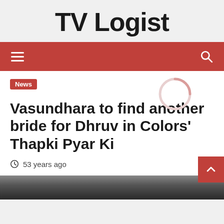TV Logist
≡   🔍
News
Vasundhara to find another bride for Dhruv in Colors' Thapki Pyar Ki
53 years ago
[Figure (photo): Partial photo at the bottom of the page, cropped]